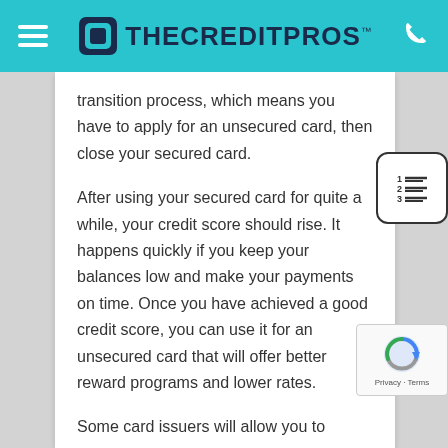THE CREDIT PROS
transition process, which means you have to apply for an unsecured card, then close your secured card.
After using your secured card for quite a while, your credit score should rise. It happens quickly if you keep your balances low and make your payments on time. Once you have achieved a good credit score, you can use it for an unsecured card that will offer better reward programs and lower rates.
Some card issuers will allow you to